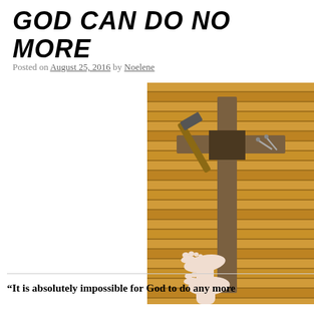GOD CAN DO NO MORE
Posted on August 25, 2016 by Noelene
[Figure (photo): A wooden cross leaning against a wall of horizontal wooden slats, with a hammer and nails at the crossbeam. Two bare feet are visible at the base of the cross.]
“It is absolutely impossible for God to do any more